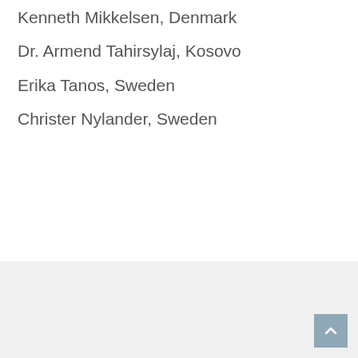Kenneth Mikkelsen, Denmark
Dr. Armend Tahirsylaj, Kosovo
Erika Tanos, Sweden
Christer Nylander, Sweden